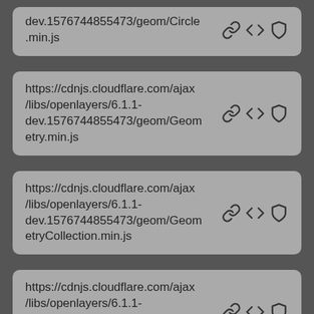dev.1576744855473/geom/Circle.min.js
https://cdnjs.cloudflare.com/ajax/libs/openlayers/6.1.1-dev.1576744855473/geom/Geometry.min.js
https://cdnjs.cloudflare.com/ajax/libs/openlayers/6.1.1-dev.1576744855473/geom/GeometryCollection.min.js
https://cdnjs.cloudflare.com/ajax/libs/openlayers/6.1.1-dev.1576744855473/geom/GeometryLayout.min.js